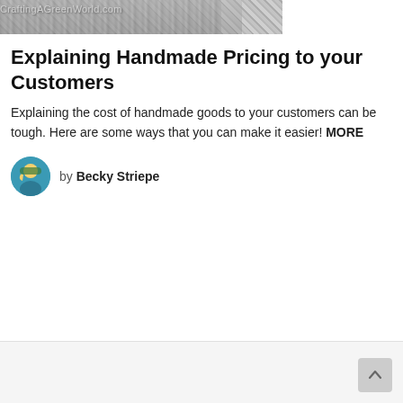[Figure (photo): Header banner image with crafting/handmade background and CraftingAGreenWorld.com watermark text]
Explaining Handmade Pricing to your Customers
Explaining the cost of handmade goods to your customers can be tough. Here are some ways that you can make it easier! MORE
by Becky Striepe